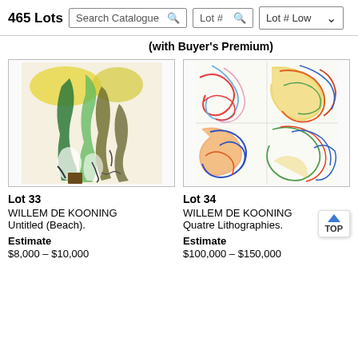465 Lots | Search Catalogue | Lot # | Lot # Low
(with Buyer's Premium)
[Figure (illustration): Painting/lithograph artwork for Lot 33, Willem de Kooning, Untitled (Beach) — abstract figures with yellow, green, dark brown colors]
[Figure (illustration): Painting/lithograph artwork for Lot 34, Willem de Kooning, Quatre Lithographies — colorful abstract swirling lines in red, blue, yellow, green on white background, four quadrant composition]
Lot 33
WILLEM DE KOONING
Untitled (Beach).
Estimate
$8,000 – $10,000
Lot 34
WILLEM DE KOONING
Quatre Lithographies.
Estimate
$100,000 – $150,000